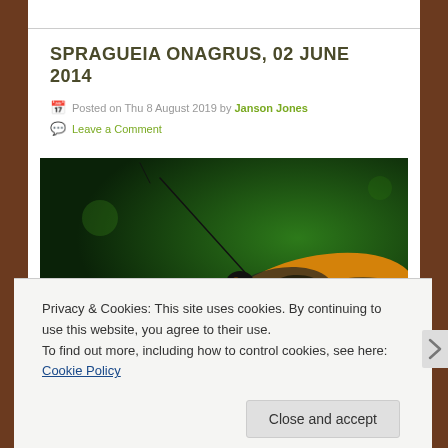SPRAGUEIA ONAGRUS, 02 JUNE 2014
Posted on Thu 8 August 2019 by Janson Jones
Leave a Comment
[Figure (photo): Close-up macro photograph of a Spragueia onagrus moth with yellow and black patterned wings against a dark green background]
Privacy & Cookies: This site uses cookies. By continuing to use this website, you agree to their use.
To find out more, including how to control cookies, see here: Cookie Policy